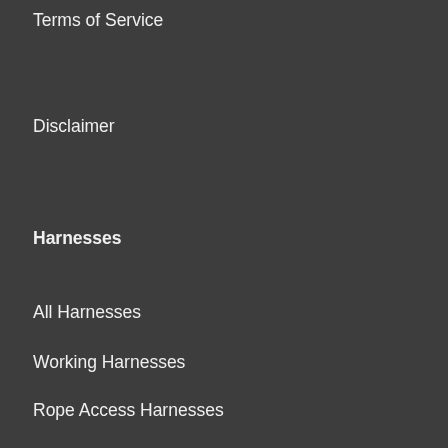Terms of Service
Disclaimer
Harnesses
All Harnesses
Working Harnesses
Rope Access Harnesses
Fall Arrest Harnesses
Rescue Harnesses